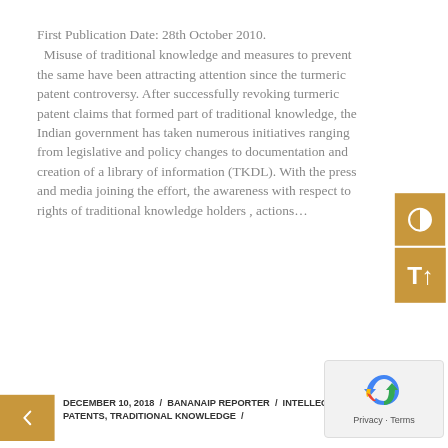First Publication Date: 28th October 2010. Misuse of traditional knowledge and measures to prevent the same have been attracting attention since the turmeric patent controversy. After successfully revoking turmeric patent claims that formed part of traditional knowledge, the Indian government has taken numerous initiatives ranging from legislative and policy changes to documentation and creation of a library of information (TKDL). With the press and media joining the effort, the awareness with respect to rights of traditional knowledge holders , actions…
DECEMBER 10, 2018 / BANANAIP REPORTER / INTELLECTUAL PROPERTY, PATENTS, TRADITIONAL KNOWLEDGE /